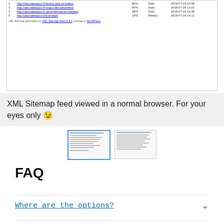[Figure (screenshot): Screenshot of XML sitemap feed viewed in a browser, showing a table with URL entries including columns for priority, frequency, and last modified dates. Rows include doucaesejour.fr URLs. Footer note: 'NB: Sitemap generated by XML Sitemap Feed 5.3.1 running on WordPress.']
XML Sitemap feed viewed in a normal browser. For your eyes only 😉
[Figure (screenshot): Two thumbnail screenshots of XML sitemap views in a browser.]
FAQ
Where are the options?